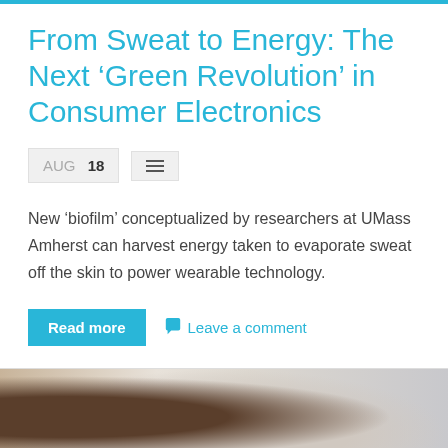From Sweat to Energy: The Next ‘Green Revolution’ in Consumer Electronics
AUG 18
New 'biofilm' conceptualized by researchers at UMass Amherst can harvest energy taken to evaporate sweat off the skin to power wearable technology.
Read more   Leave a comment
[Figure (photo): A blurred photo showing a person near a device, partially visible at the bottom of the page.]